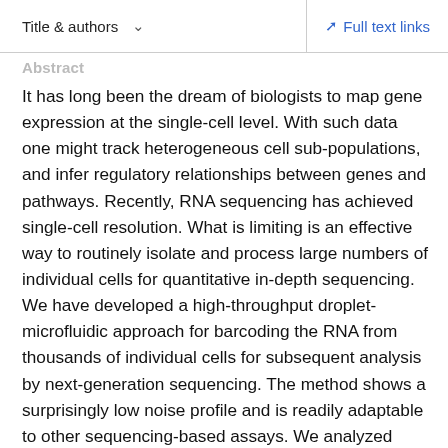Title & authors   ✓   Full text links
Abstract
It has long been the dream of biologists to map gene expression at the single-cell level. With such data one might track heterogeneous cell sub-populations, and infer regulatory relationships between genes and pathways. Recently, RNA sequencing has achieved single-cell resolution. What is limiting is an effective way to routinely isolate and process large numbers of individual cells for quantitative in-depth sequencing. We have developed a high-throughput droplet-microfluidic approach for barcoding the RNA from thousands of individual cells for subsequent analysis by next-generation sequencing. The method shows a surprisingly low noise profile and is readily adaptable to other sequencing-based assays. We analyzed mouse embryonic stem cells, revealing in detail the population structure and the heterogeneous onset of differentiation after leukemia inhibitory factor (LIF) withdrawal. The accessibility of the...